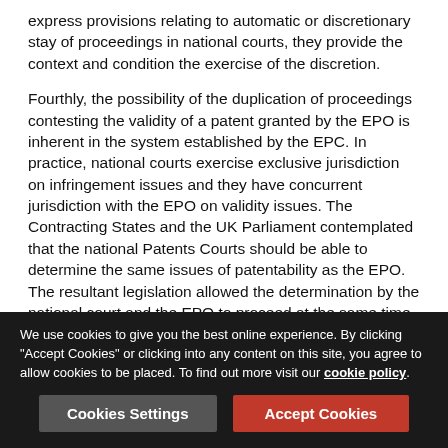express provisions relating to automatic or discretionary stay of proceedings in national courts, they provide the context and condition the exercise of the discretion.
Fourthly, the possibility of the duplication of proceedings contesting the validity of a patent granted by the EPO is inherent in the system established by the EPC. In practice, national courts exercise exclusive jurisdiction on infringement issues and they have concurrent jurisdiction with the EPO on validity issues. The Contracting States and the UK Parliament contemplated that the national Patents Courts should be able to determine the same issues of patentability as the EPO. The resultant legislation allowed the determination by the national court and the EPO to proceed at the same time. Indeed, there is nothing in the EPC or the 1977 Act to prevent the commencement of revocation proceedings in the Patents Court on the very date of the grant of the patent by the EPO.
We use cookies to give you the best online experience. By clicking "Accept Cookies" or clicking into any content on this site, you agree to allow cookies to be placed. To find out more visit our cookie policy.